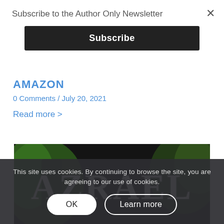Subscribe to the Author Only Newsletter
Subscribe
AMAZON
0 Comments / July 20, 2021
Read more >
[Figure (photo): Book cover image showing the word AZRAEL in large white letters over a dark background with green and colorful imagery]
This site uses cookies. By continuing to browse the site, you are agreeing to our use of cookies.
OK
Learn more